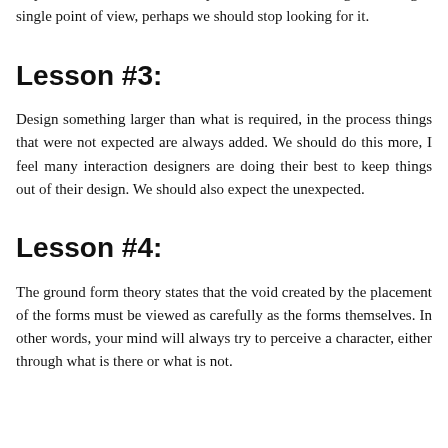they see their work, we rarely see interactive design reaching a single point of view, perhaps we should stop looking for it.
Lesson #3:
Design something larger than what is required, in the process things that were not expected are always added. We should do this more, I feel many interaction designers are doing their best to keep things out of their design. We should also expect the unexpected.
Lesson #4:
The ground form theory states that the void created by the placement of the forms must be viewed as carefully as the forms themselves. In other words, your mind will always try to perceive a character, either through what is there or what is not.